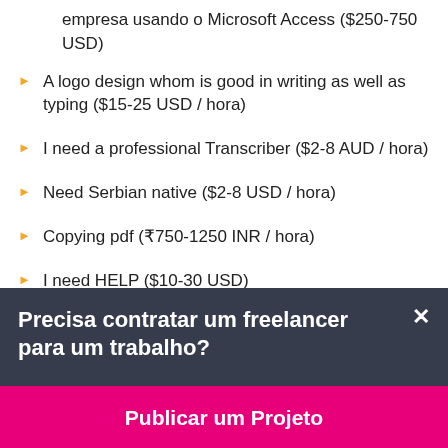empresa usando o Microsoft Access ($250-750 USD)
A logo design whom is good in writing as well as typing ($15-25 USD / hora)
I need a professional Transcriber ($2-8 AUD / hora)
Need Serbian native ($2-8 USD / hora)
Copying pdf (₹750-1250 INR / hora)
I need HELP ($10-30 USD)
I need an excel data entry specialist ($250-750 NZD)
Reliable News Article Editor Needed ($250-750 USD)
Precisa contratar um freelancer para um trabalho?
Publicar um Projeto